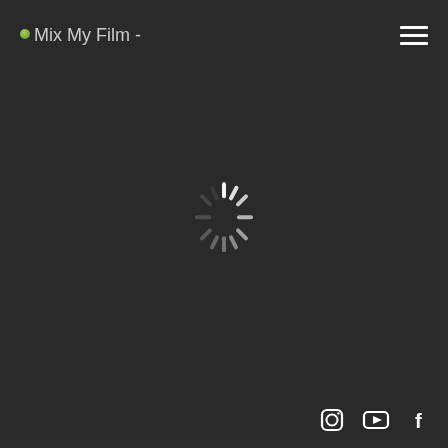Mix My Film - [logo with green dot]
[Figure (illustration): Hamburger menu icon (three horizontal white lines) in top-right corner]
[Figure (illustration): Loading spinner animation - circular spinner with radiating white tick marks on dark background, centered on page]
[Figure (illustration): Social media icons row at bottom right: Instagram camera icon, YouTube play button icon, Facebook f icon - all white on dark background]